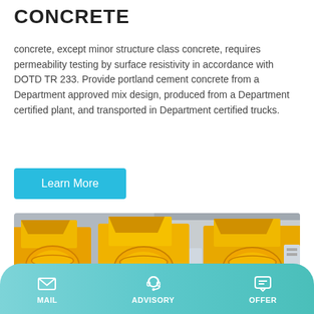CONCRETE
concrete, except minor structure class concrete, requires permeability testing by surface resistivity in accordance with DOTD TR 233. Provide portland cement concrete from a Department approved mix design, produced from a Department certified plant, and transported in Department certified trucks.
Learn More
[Figure (photo): Yellow concrete mixer trucks lined up in a yard, viewed from the front showing mixing drums and loading hoppers.]
MAIL   ADVISORY   OFFER